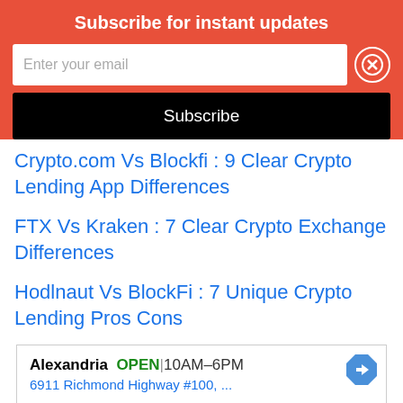Subscribe for instant updates
Enter your email
Subscribe
Crypto.com Vs Blockfi : 9 Clear Crypto Lending App Differences
FTX Vs Kraken : 7 Clear Crypto Exchange Differences
Hodlnaut Vs BlockFi : 7 Unique Crypto Lending Pros Cons
[Figure (other): Advertisement banner for Alexandria business: OPEN 10AM-6PM, 6911 Richmond Highway #100, ... with navigation arrow icon]